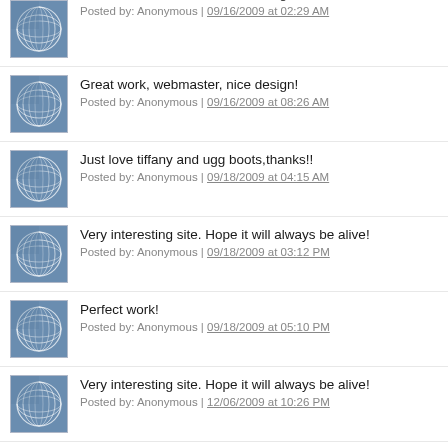Great work, webmaster, nice design!
Posted by: Anonymous | 09/16/2009 at 02:29 AM
Great work, webmaster, nice design!
Posted by: Anonymous | 09/16/2009 at 08:26 AM
Just love tiffany and ugg boots,thanks!!
Posted by: Anonymous | 09/18/2009 at 04:15 AM
Very interesting site. Hope it will always be alive!
Posted by: Anonymous | 09/18/2009 at 03:12 PM
Perfect work!
Posted by: Anonymous | 09/18/2009 at 05:10 PM
Very interesting site. Hope it will always be alive!
Posted by: Anonymous | 12/06/2009 at 10:26 PM